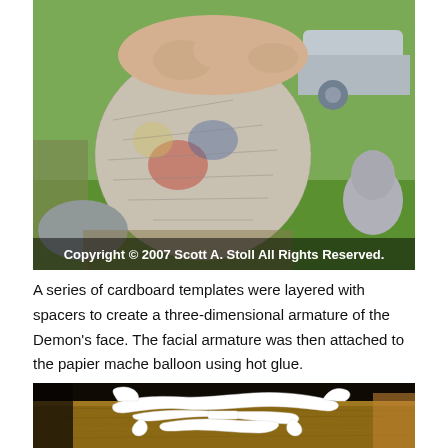[Figure (photo): A hand holding a papier mache balloon covered in newspaper strips, photographed outdoors on grass with another sculpture visible in the background. Copyright watermark text overlaid at the bottom.]
A series of cardboard templates were layered with spacers to create a three-dimensional armature of the Demon's face. The facial armature was then attached to the papier mache balloon using hot glue.
[Figure (photo): White cardboard templates/armature pieces laid out on a wooden table, showing the facial structure framework for the Demon mask project.]